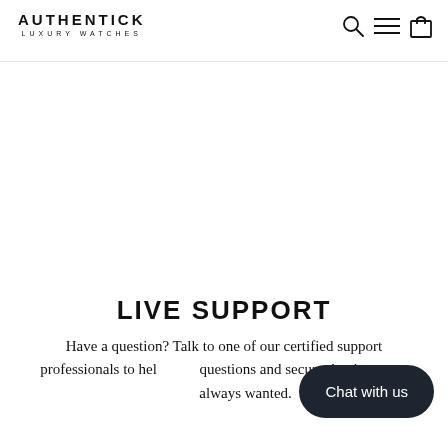AUTHENTICK LUXURY WATCHES
LIVE SUPPORT
Have a question? Talk to one of our certified support professionals to help your questions and secure the timepiece you've always wanted.